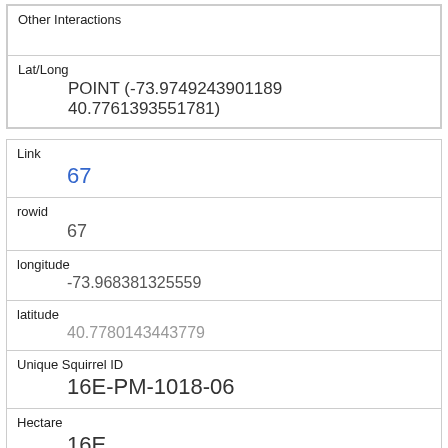| Other Interactions |  |
| Lat/Long | POINT (-73.9749243901189 40.7761393551781) |
| Link | 67 |
| rowid | 67 |
| longitude | -73.968381325559 |
| latitude | 40.7780143443779 |
| Unique Squirrel ID | 16E-PM-1018-06 |
| Hectare | 16E |
| Shift | PM |
| Date | 10182018 |